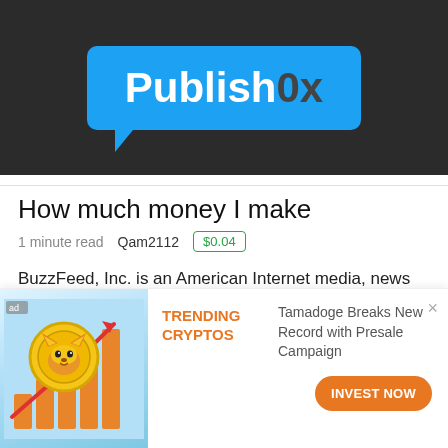[Figure (logo): Publish0x logo: white speech bubble with 'Publish0x' text on dark background]
How much money I make
1 minute read   Qam2112   $0.04
BuzzFeed, Inc. is an American Internet media, news and entertainment company with a focus on digital media NBCUniversal (which owns NBC News) has a $400 million investment in BuzzFeed They are the
[Figure (infographic): Trending Cryptos advertisement: Tamadoge Breaks New Record with Presale Campaign. Shows a Shiba Inu coin with arrow chart going up. INVEST NOW button.]